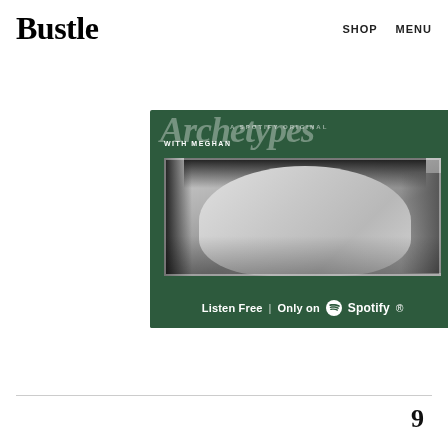Bustle  SHOP  MENU
[Figure (advertisement): Spotify advertisement for 'Archetypes with Meghan' podcast. Green background with large semi-transparent italic 'Archetypes' text, 'WITH MEGHAN' subtitle, black-and-white portrait photo of Meghan Markle, and 'Listen Free | Only on Spotify' text with Spotify logo at the bottom.]
9